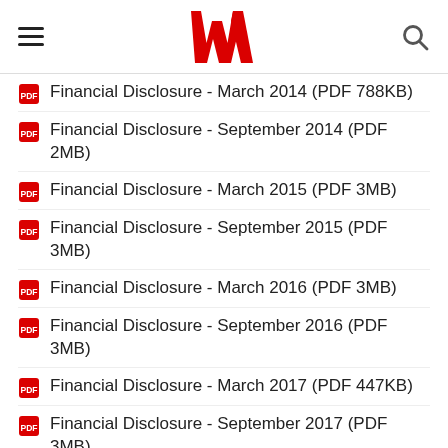Westpac navigation bar with logo
Financial Disclosure - March 2014 (PDF 788KB)
Financial Disclosure - September 2014 (PDF 2MB)
Financial Disclosure - March 2015 (PDF 3MB)
Financial Disclosure - September 2015 (PDF 3MB)
Financial Disclosure - March 2016 (PDF 3MB)
Financial Disclosure - September 2016 (PDF 3MB)
Financial Disclosure - March 2017 (PDF 447KB)
Financial Disclosure - September 2017 (PDF 3MB)
Financial Disclosure - March 2018 (PDF 841KB)
Financial Disclosure - September 2018 (PDF 3MB)